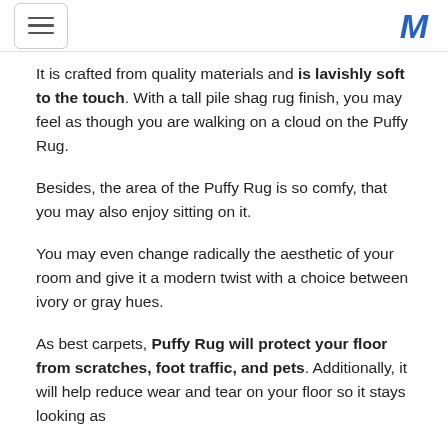[hamburger menu icon] [M logo]
It is crafted from quality materials and is lavishly soft to the touch. With a tall pile shag rug finish, you may feel as though you are walking on a cloud on the Puffy Rug.
Besides, the area of the Puffy Rug is so comfy, that you may also enjoy sitting on it.
You may even change radically the aesthetic of your room and give it a modern twist with a choice between ivory or gray hues.
As best carpets, Puffy Rug will protect your floor from scratches, foot traffic, and pets. Additionally, it will help reduce wear and tear on your floor so it stays looking as